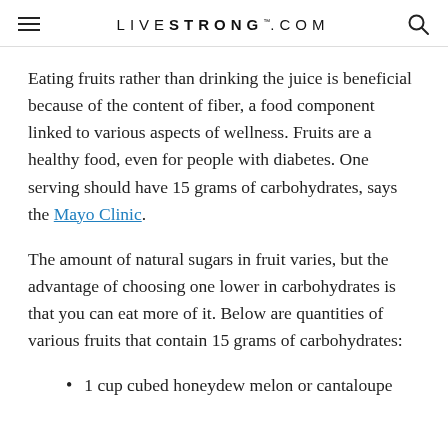LIVESTRONG.COM
Eating fruits rather than drinking the juice is beneficial because of the content of fiber, a food component linked to various aspects of wellness. Fruits are a healthy food, even for people with diabetes. One serving should have 15 grams of carbohydrates, says the Mayo Clinic.
The amount of natural sugars in fruit varies, but the advantage of choosing one lower in carbohydrates is that you can eat more of it. Below are quantities of various fruits that contain 15 grams of carbohydrates:
1 cup cubed honeydew melon or cantaloupe